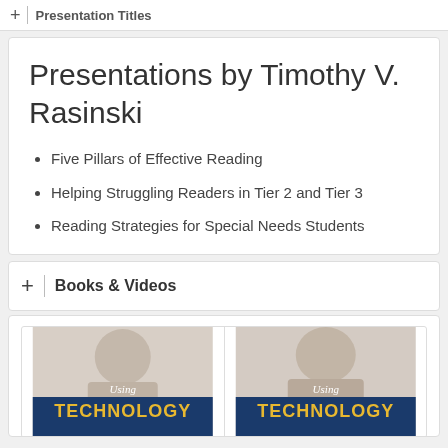Presentation Titles
Presentations by Timothy V. Rasinski
Five Pillars of Effective Reading
Helping Struggling Readers in Tier 2 and Tier 3
Reading Strategies for Special Needs Students
Books & Videos
[Figure (photo): Two book covers for 'Using Technology' side by side, each showing a young woman smiling and holding a tablet device. The covers have blue and gold color scheme with 'Using' in white italic text and 'TECHNOLOGY' in large gold letters.]